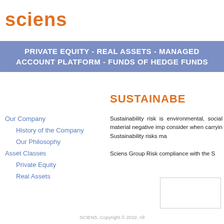sciens
PRIVATE EQUITY - REAL ASSETS - MANAGED ACCOUNT PLATFORM - FUNDS OF HEDGE FUNDS
Our Company
History of the Company
Our Philosophy
Asset Classes
Private Equity
Real Assets
SUSTAINABE
Sustainability risk is environmental, social material negative imp consider when carryin Sustainability risks ma
Sciens Group Risk compliance with the S
SCIENS. Copyright © 2022. All